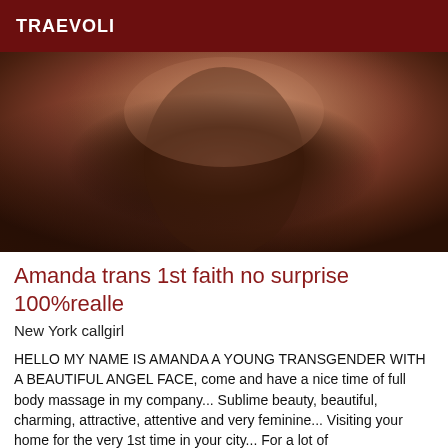TRAEVOLI
[Figure (photo): Close-up photo used as listing image]
Amanda trans 1st faith no surprise 100%realle
New York callgirl
HELLO MY NAME IS AMANDA A YOUNG TRANSGENDER WITH A BEAUTIFUL ANGEL FACE, come and have a nice time of full body massage in my company... Sublime beauty, beautiful, charming, attractive, attentive and very feminine... Visiting your home for the very 1st time in your city... For a lot of